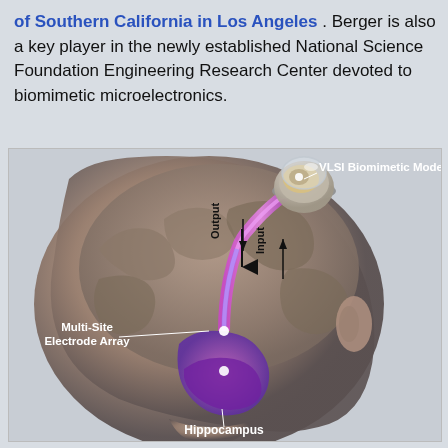of Southern California in Los Angeles. Berger is also a key player in the newly established National Science Foundation Engineering Research Center devoted to biomimetic microelectronics.
[Figure (illustration): Medical illustration of a human head in profile showing a brain implant system. Labels indicate: 'VLSI Biomimetic Model' (a chip device mounted on top of the skull), 'Output' (arrow pointing downward along a purple tube/conduit), 'Input' (arrow pointing upward along the conduit), 'Multi-Site Electrode Array' (with a line pointing into the brain), and 'Hippocampus' (labeled at the bottom of the brain structure). The hippocampus is highlighted in purple/violet color, and the conduit connecting it to the external VLSI chip is also purple/pink.]